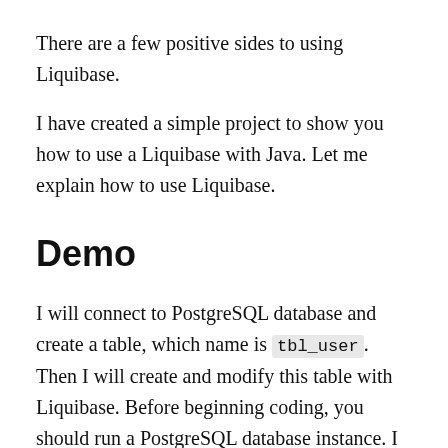There are a few positive sides to using Liquibase.
I have created a simple project to show you how to use a Liquibase with Java. Let me explain how to use Liquibase.
Demo
I will connect to PostgreSQL database and create a table, which name is tbl_user. Then I will create and modify this table with Liquibase. Before beginning coding, you should run a PostgreSQL database instance. I will use it with